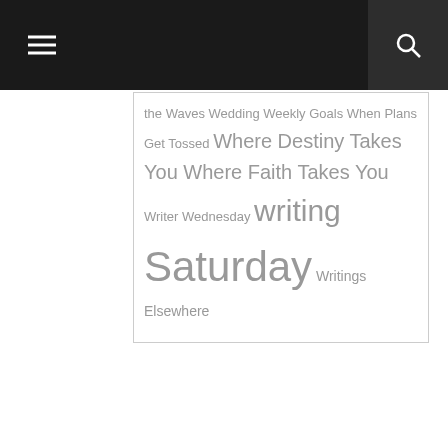Navigation bar with menu and search icons
the Waves Wedding Weekly Goals When Plans Get Tossed Where Destiny Takes You Where Faith Takes You Writer Wednesday writing Saturday Writings Elsewhere
© 2008-2022 by Sarah Holman. Unauthorized use, duplication and/or distribution of this material without express and written permission from the author is strictly prohibited.ed.